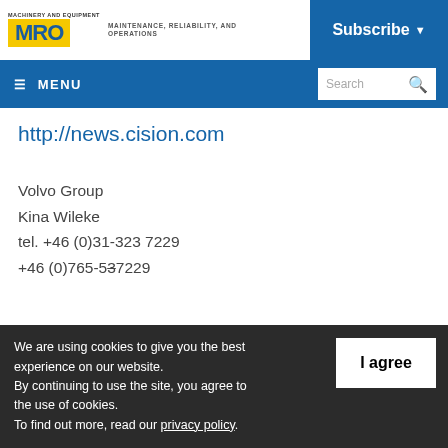MRO - MAINTENANCE, RELIABILITY, AND OPERATIONS | Subscribe | Menu | Search
http://news.cision.com
Volvo Group
Kina Wileke
tel. +46 (0)31-323 7229
+46 (0)765-537229
We are using cookies to give you the best experience on our website. By continuing to use the site, you agree to the use of cookies. To find out more, read our privacy policy.